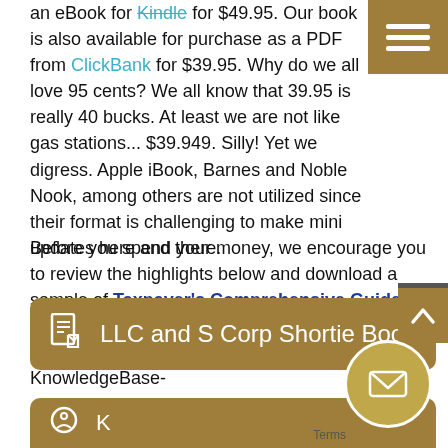an eBook for Kindle for $49.95. Our book is also available for purchase as a PDF from ClickBank for $39.95. Why do we all love 95 cents? We all know that 39.95 is really 40 bucks. At least we are not like gas stations... $39.949. Silly! Yet we digress. Apple iBook, Barnes and Noble Nook, among others are not utilized since their format is challenging to make mini updates here and there.
Before you spend your money, we encourage you to review the highlights below and download a sample of Taxpayer's Comprehensive Guide to LLCs and S Corps by using the following button, or the electronic yet full version from our KnowledgeBase-
[Figure (other): Gold button with PDF icon labeled 'LLC and S Corp Shortie Book']
[Figure (other): Partially visible gold button at the bottom of the page]